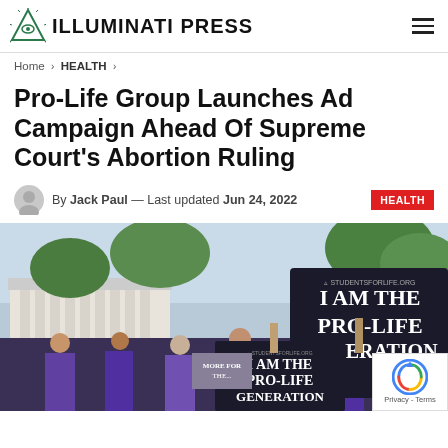ILLUMINATI PRESS
Home > HEALTH >
Pro-Life Group Launches Ad Campaign Ahead Of Supreme Court's Abortion Ruling
By Jack Paul — Last updated Jun 24, 2022  HEALTH
[Figure (photo): Protesters outside the Supreme Court holding signs reading 'I AM THE PRO-LIFE GENERATION' from studentsforlife.org]